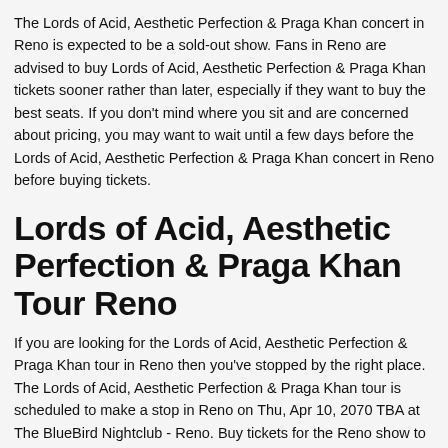The Lords of Acid, Aesthetic Perfection & Praga Khan concert in Reno is expected to be a sold-out show. Fans in Reno are advised to buy Lords of Acid, Aesthetic Perfection & Praga Khan tickets sooner rather than later, especially if they want to buy the best seats. If you don't mind where you sit and are concerned about pricing, you may want to wait until a few days before the Lords of Acid, Aesthetic Perfection & Praga Khan concert in Reno before buying tickets.
Lords of Acid, Aesthetic Perfection & Praga Khan Tour Reno
If you are looking for the Lords of Acid, Aesthetic Perfection & Praga Khan tour in Reno then you've stopped by the right place. The Lords of Acid, Aesthetic Perfection & Praga Khan tour is scheduled to make a stop in Reno on Thu, Apr 10, 2070 TBA at The BlueBird Nightclub - Reno. Buy tickets for the Reno show to see your idols live on tour.